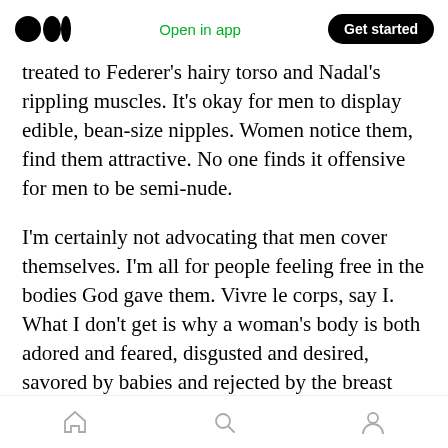Medium logo | Open in app | Get started
treated to Federer's hairy torso and Nadal's rippling muscles. It's okay for men to display edible, bean-size nipples. Women notice them, find them attractive. No one finds it offensive for men to be semi-nude.
I'm certainly not advocating that men cover themselves. I'm all for people feeling free in the bodies God gave them. Vivre le corps, say I. What I don't get is why a woman's body is both adored and feared, disgusted and desired, savored by babies and rejected by the breast police, why a woman can't be free in her body without society
Home | Search | Profile